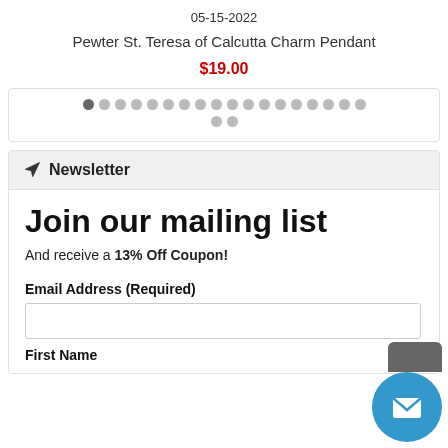05-15-2022
Pewter St. Teresa of Calcutta Charm Pendant
$19.00
[Figure (other): Pagination dots: 20 dots in two rows, first dot is dark/active, rest are light gray]
Newsletter
Join our mailing list
And receive a 13% Off Coupon!
Email Address (Required)
First Name
[Figure (other): Blue circular chat/mail widget button with envelope icon in bottom-right corner]